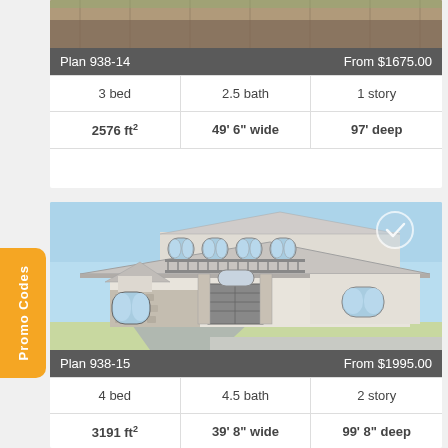[Figure (photo): Top portion of a house exterior photo (cut off at top of page)]
Plan 938-14    From $1675.00
| 3 bed | 2.5 bath | 1 story |
| 2576 ft² | 49' 6" wide | 97' deep |
[Figure (illustration): Two-story Mediterranean/Italian style house illustration with arched windows, stone facade, tile roof, double garage doors, and a checkmark overlay in upper right corner]
Plan 938-15    From $1995.00
| 4 bed | 4.5 bath | 2 story |
| 3191 ft² | 39' 8" wide | 99' 8" deep |